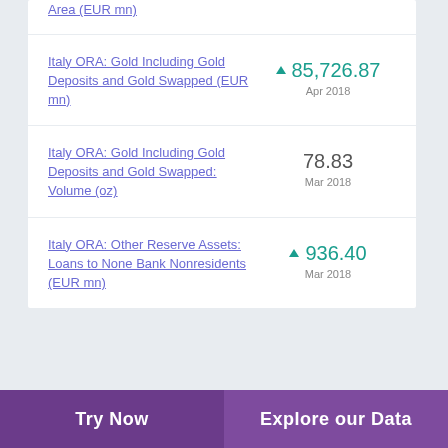Area (EUR mn)
Italy ORA: Gold Including Gold Deposits and Gold Swapped (EUR mn)
Italy ORA: Gold Including Gold Deposits and Gold Swapped: Volume (oz)
Italy ORA: Other Reserve Assets: Loans to None Bank Nonresidents (EUR mn)
Try Now
Explore our Data